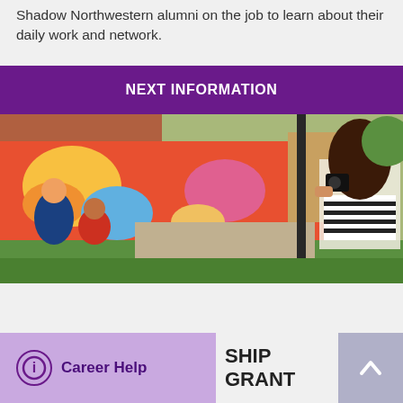Shadow Northwestern alumni on the job to learn about their daily work and network.
NEXT INFORMATION
[Figure (photo): A young woman with long brown hair photographing a colorful outdoor mural on a brick wall. People sit and paint near the mural in the background.]
SHIP GRANT
Career Help